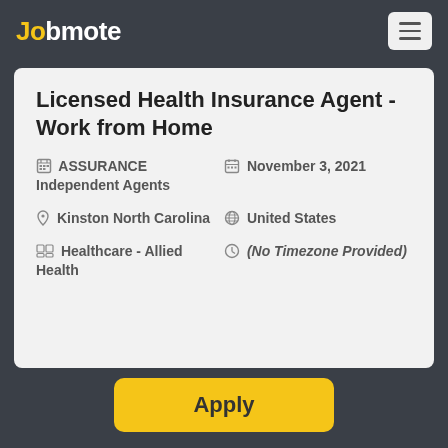Jobmote
Licensed Health Insurance Agent - Work from Home
ASSURANCE Independent Agents | November 3, 2021 | Kinston North Carolina | United States | Healthcare - Allied Health | (No Timezone Provided)